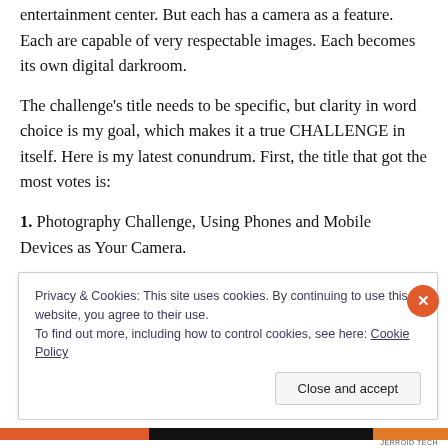entertainment center. But each has a camera as a feature. Each are capable of very respectable images. Each becomes its own digital darkroom.
The challenge's title needs to be specific, but clarity in word choice is my goal, which makes it a true CHALLENGE in itself. Here is my latest conundrum. First, the title that got the most votes is:
1. Photography Challenge, Using Phones and Mobile Devices as Your Camera.
Al…(partially visible text cut off)
Privacy & Cookies: This site uses cookies. By continuing to use this website, you agree to their use.
To find out more, including how to control cookies, see here: Cookie Policy
Close and accept